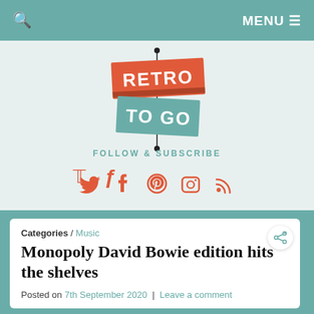🔍   MENU ≡
[Figure (logo): Retro To Go logo — two overlapping banner shapes (red and teal) with white bold text 'RETRO TO GO', connected by a vertical line with dots at top and bottom]
FOLLOW & SUBSCRIBE
[Figure (infographic): Social media icons: Twitter (bird), Facebook (f), Pinterest (P), Instagram (camera), RSS (wifi signal) — all in coral/red color]
Categories / Music
Monopoly David Bowie edition hits the shelves
Posted on 7th September 2020  |  Leave a comment